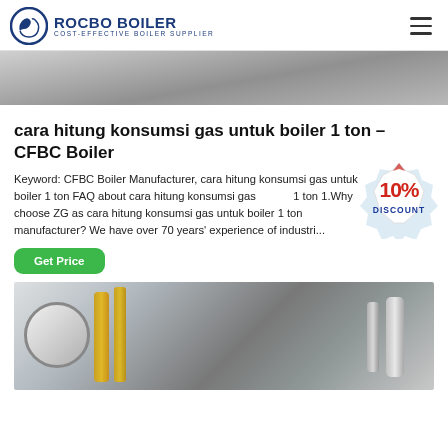ROCBO BOILER – COST-EFFECTIVE BOILER SUPPLIER
[Figure (photo): Top partial image of industrial equipment]
cara hitung konsumsi gas untuk boiler 1 ton – CFBC Boiler
Keyword: CFBC Boiler Manufacturer, cara hitung konsumsi gas untuk boiler 1 ton FAQ about cara hitung konsumsi gas 1 ton 1.Why choose ZG as cara hitung konsumsi gas untuk boiler 1 ton manufacturer? We have over 70 years' experience of industri...
[Figure (illustration): 10% DISCOUNT badge/sticker]
[Figure (photo): Bottom image of industrial boiler with pipes and equipment in a factory setting]